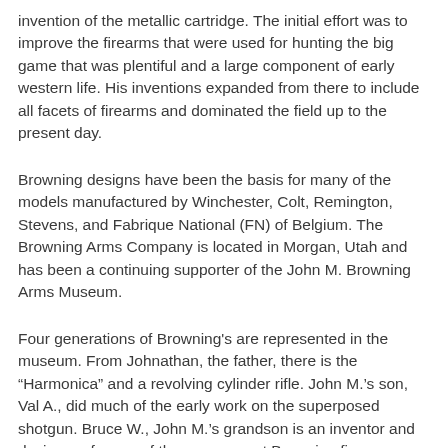invention of the metallic cartridge. The initial effort was to improve the firearms that were used for hunting the big game that was plentiful and a large component of early western life. His inventions expanded from there to include all facets of firearms and dominated the field up to the present day.
Browning designs have been the basis for many of the models manufactured by Winchester, Colt, Remington, Stevens, and Fabrique National (FN) of Belgium. The Browning Arms Company is located in Morgan, Utah and has been a continuing supporter of the John M. Browning Arms Museum.
Four generations of Browning's are represented in the museum. From Johnathan, the father, there is the “Harmonica” and a revolving cylinder rifle. John M.’s son, Val A., did much of the early work on the superposed shotgun. Bruce W., John M.’s grandson is an inventor and designer of some of the more recent Browning firearms.
Sporting Rifles
The Browning Single Shot Rifle was designed and produced...